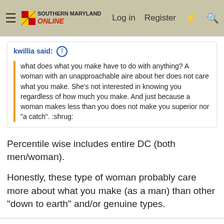Southern Maryland Online — Log in  Register
kwillia said: ↑
what does what you make have to do with anything? A woman with an unapproachable aire about her does not care what you make. She's not interested in knowing you regardless of how much you make. And just because a woman makes less than you does not make you superior nor "a catch". :shrug:
Percentile wise includes entire DC (both men/woman).
Honestly, these type of woman probably care more about what you make (as a man) than other "down to earth" and/or genuine types.
FED_UP
Well-Known Member
Jul 28, 2015  #97